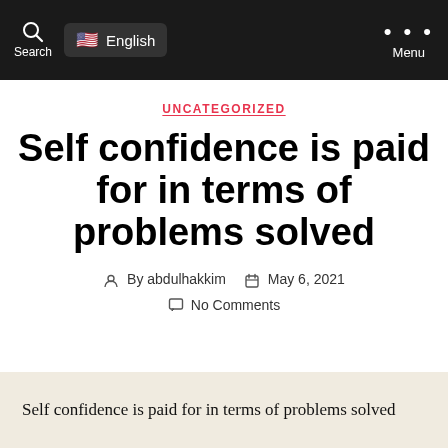Search  English  Menu
UNCATEGORIZED
Self confidence is paid for in terms of problems solved
By abdulhakkim  May 6, 2021  No Comments
Self confidence is paid for in terms of problems solved